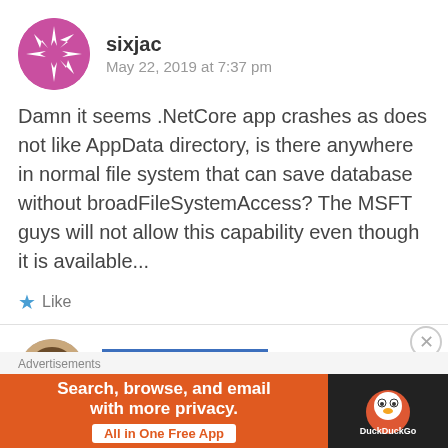sixjac
May 22, 2019 at 7:37 pm
Damn it seems .NetCore app crashes as does not like AppData directory, is there anywhere in normal file system that can save database without broadFileSystemAccess? The MSFT guys will not allow this capability even though it is available...
Like
stefanwick
May 22, 2019 at 7:44 pm
Advertisements
Search, browse, and email with more privacy. All in One Free App